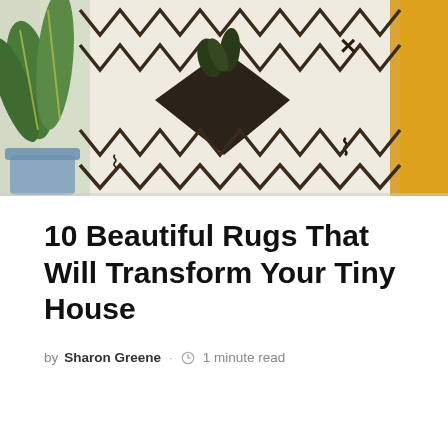[Figure (photo): Photo of a decorative Moroccan-style rug with black zigzag patterns and a dark diamond shape in the center, on a light background. A green snake plant in a blue pot is visible on the left, and a yellow garment on the right.]
10 Beautiful Rugs That Will Transform Your Tiny House
by Sharon Greene · 1 minute read